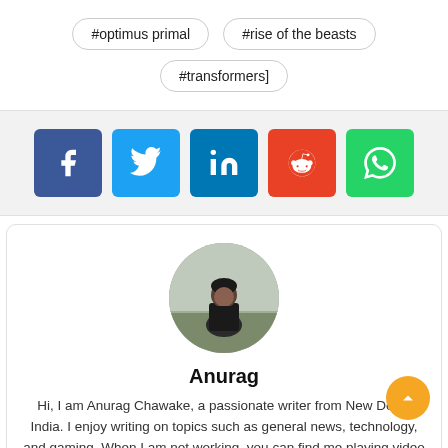#optimus primal
#rise of the beasts
#transformers]
[Figure (other): Social share buttons: Facebook, Twitter, LinkedIn, Reddit, WhatsApp]
[Figure (photo): Circular avatar photo of Anurag, a man sitting outdoors in a misty field wearing a dark jacket]
Anurag
Hi, I am Anurag Chawake, a passionate writer from New Delhi, India. I enjoy writing on topics such as general news, technology, and gaming. When I am not working, you can find me playing video games.